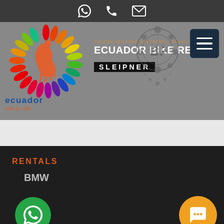[Figure (screenshot): Top navigation bar with WhatsApp icon, phone icon, and email icon on dark background]
[Figure (logo): Ecuador Bike Rental by Sleipner banner: colorful horse logo with rainbow mandala, Ecuador ama la vida text, and ECUADOR BIKE RENTAL BY SLEIPNER text with decorative tribal motorcycle graphic and hamburger menu button]
RENTALS
BMW
[Figure (logo): Green WhatsApp circular button with WhatsApp phone icon]
KTM
[Figure (other): Orange circular chat/messaging button with speech bubble dots icon]